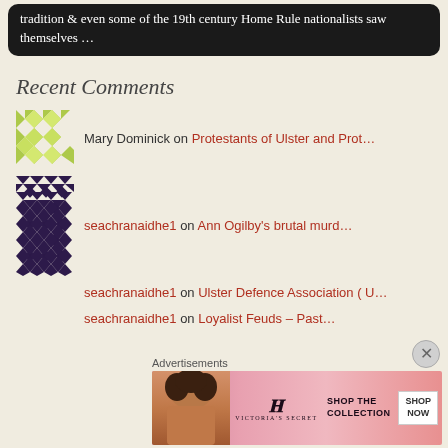tradition & even some of the 19th century Home Rule nationalists saw themselves …
Recent Comments
Mary Dominick on Protestants of Ulster and Prot…
seachranaidhe1 on Ann Ogilby's brutal murd…
seachranaidhe1 on Ulster Defence Association ( U…
seachranaidhe1 on Loyalist Feuds – Past…
Advertisements
[Figure (screenshot): Victoria's Secret advertisement banner with model and 'SHOP THE COLLECTION SHOP NOW' text]